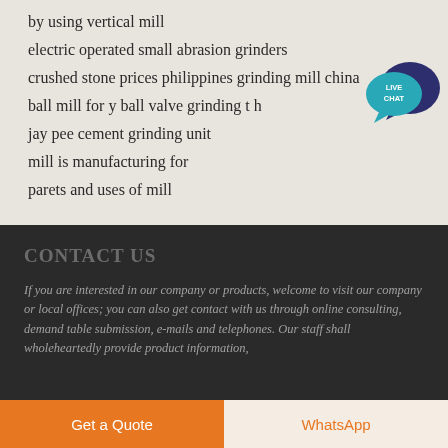by using vertical mill
electric operated small abrasion grinders
crushed stone prices philippines grinding mill china
ball mill for y ball valve grinding t h
jay pee cement grinding unit
mill is manufacturing for
parets and uses of mill
[Figure (illustration): Live Chat button widget with teal speech bubble and dark blue chat bubble, text 'LIVE CHAT']
CONTACT US
If you are interested in our company or products, welcome to visit our company or local offices; you can also get contact with us through online consulting, demand table submission, e-mails and telephones. Our staff shall wholeheartedly provide product information,
Get a Quote | WhatsApp